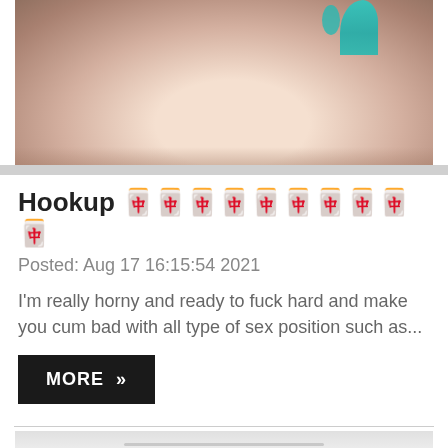[Figure (photo): Partial photo of person in teal/turquoise bikini]
Hookup 🀄🀄🀄🀄🀄🀄🀄🀄🀄🀄
Posted: Aug 17 16:15:54 2021
I'm really horny and ready to fuck hard and make you cum bad with all type of sex position such as...
MORE >>
[Figure (photo): Bottom of page partial photo, light gray/white interior scene]